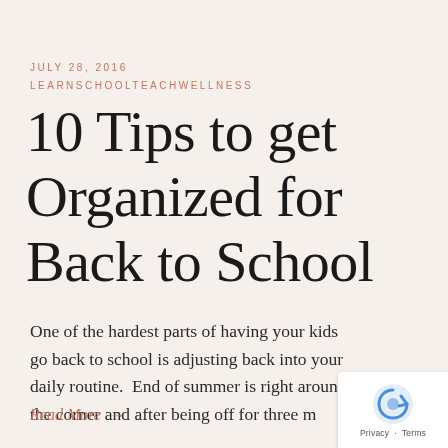JULY 28, 2016
LEARNSCHOOLTEACHWELLNESS
10 Tips to get Organized for Back to School
One of the hardest parts of having your kids go back to school is adjusting back into your daily routine.  End of summer is right around the corner and after being off for three m
Read More →